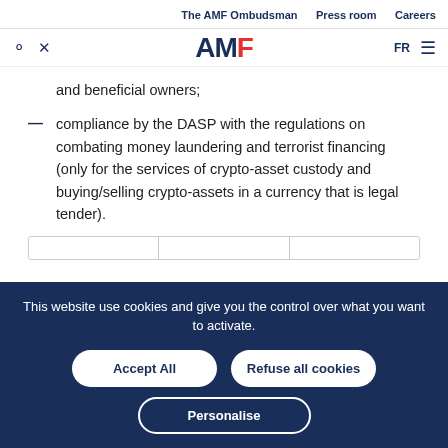The AMF Ombudsman   Press room   Careers
[Figure (logo): AMF logo with search and close icons, FR language toggle and hamburger menu]
and beneficial owners;
compliance by the DASP with the regulations on combating money laundering and terrorist financing (only for the services of crypto-asset custody and buying/selling crypto-assets in a currency that is legal tender).
This website use cookies and give you the control over what you want to activate.
Accept All   Refuse all cookies   Personalise